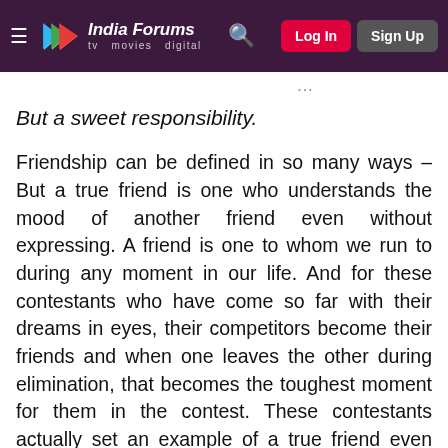India Forums — tv movies digital | Log In | Sign Up
But a sweet responsibility.
Friendship can be defined in so many ways – But a true friend is one who understands the mood of another friend even without expressing. A friend is one to whom we run to during any moment in our life. And for these contestants who have come so far with their dreams in eyes, their competitors become their friends and when one leaves the other during elimination, that becomes the toughest moment for them in the contest. These contestants actually set an example of a true friend even being a competitor, they help them to perform well and give a moral support during